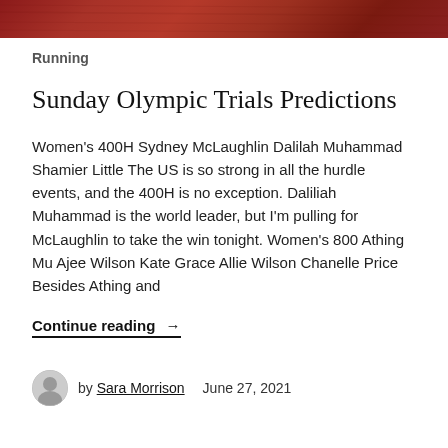[Figure (photo): A red/brown track surface banner image at the top of the page]
Running
Sunday Olympic Trials Predictions
Women's 400H Sydney McLaughlin Dalilah Muhammad Shamier Little The US is so strong in all the hurdle events, and the 400H is no exception. Daliliah Muhammad is the world leader, but I'm pulling for McLaughlin to take the win tonight. Women's 800 Athing Mu Ajee Wilson Kate Grace Allie Wilson Chanelle Price Besides Athing and
Continue reading →
by Sara Morrison    June 27, 2021